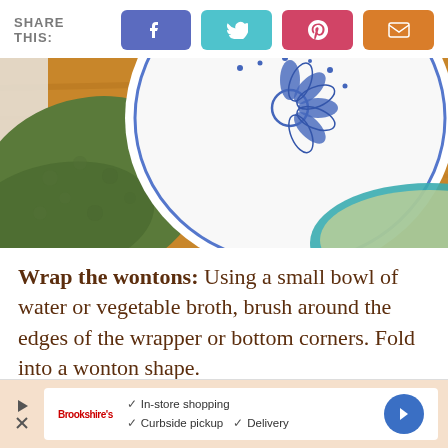SHARE THIS:
[Figure (photo): Top-down view of a decorative blue and white patterned bowl on a wooden cutting board, with a green textured cloth/napkin in the foreground and partial view of a teal-rimmed bowl in the bottom right corner.]
Wrap the wontons: Using a small bowl of water or vegetable broth, brush around the edges of the wrapper or bottom corners. Fold into a wonton shape.
[Figure (screenshot): Advertisement banner for a grocery store showing checkmarks for In-store shopping, Curbside pickup, and Delivery, with a store logo and navigation arrow icon.]